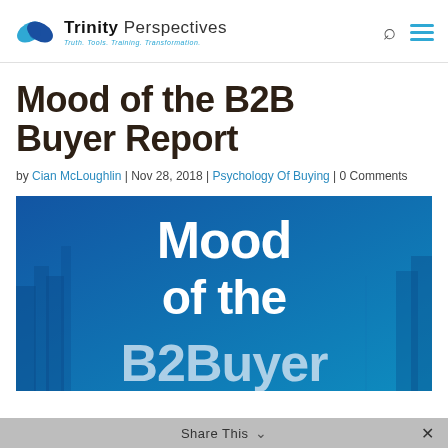Trinity Perspectives — Truth. Tools. Training. Transformation.
Mood of the B2B Buyer Report
by Cian McLoughlin | Nov 28, 2018 | Psychology Of Buying | 0 Comments
[Figure (illustration): Blue-tinted cityscape banner with large white text reading 'Mood of the B2B Buyer']
Share This